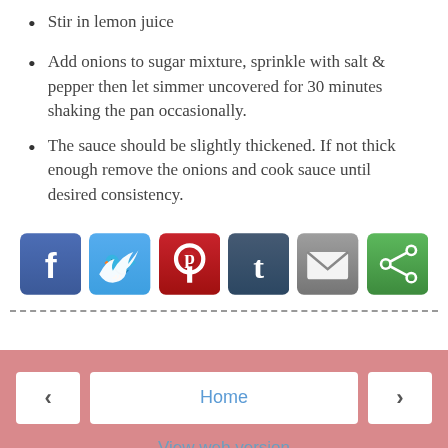Stir in lemon juice
Add onions to sugar mixture, sprinkle with salt & pepper then let simmer uncovered for 30 minutes shaking the pan occasionally.
The sauce should be slightly thickened. If not thick enough remove the onions and cook sauce until desired consistency.
[Figure (infographic): Social sharing buttons: Facebook (blue), Twitter (light blue), Pinterest (red), Tumblr (dark blue), Email (gray), ShareThis (green)]
Home | View web version | Powered by Blogger.